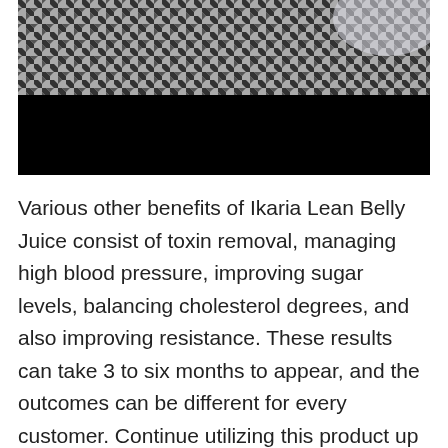[Figure (photo): Partial photo of a person wearing a houndstooth patterned garment (top portion visible), with a black redaction bar covering the lower portion of the image.]
Various other benefits of Ikaria Lean Belly Juice consist of toxin removal, managing high blood pressure, improving sugar levels, balancing cholesterol degrees, and also improving resistance. These results can take 3 to six months to appear, and the outcomes can be different for every customer. Continue utilizing this product up until you get the results you want. There are no adverse effects even after prolonged use.